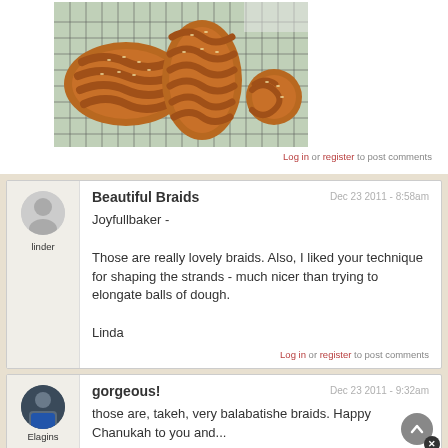[Figure (photo): Three braided challah breads on a wire cooling rack with a floral cloth underneath. Two large oval braids and one small round braid, golden-brown with sesame seeds on top.]
Log in or register to post comments
Beautiful Braids
Dec 23 2011 - 8:58am
Joyfullbaker -

Those are really lovely braids.  Also, I liked your technique for shaping the strands - much nicer than trying to elongate balls of dough.

Linda
Log in or register to post comments
gorgeous!
Dec 23 2011 - 9:32am
those are, takeh, very balabatishe braids.  Happy Chanukah to you and...